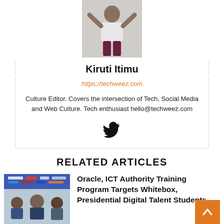[Figure (photo): Author photo of Kiruti Itimu, person standing with arms raised, wearing white top and dark pants]
Kiruti Itimu
https://techweez.com
Culture Editor. Covers the intersection of Tech, Social Media and Web Culture. Tech enthusiast hello@techweez.com
[Figure (illustration): Twitter bird icon]
RELATED ARTICLES
[Figure (photo): Conference panel photo with Oracle and ICT Authority banners in background]
Oracle, ICT Authority Training Program Targets Whitebox, Presidential Digital Talent Students